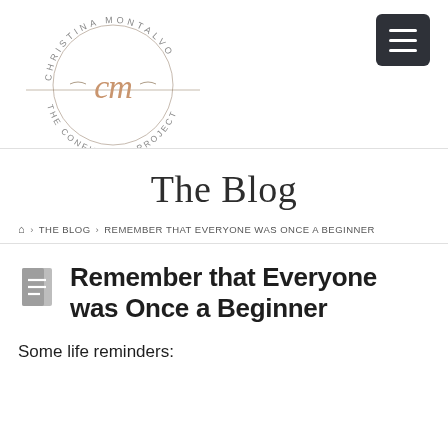[Figure (logo): Christina Montalvo The Confidence Project circular logo with decorative 'cm' script signature]
[Figure (other): Dark grey hamburger menu button with three white horizontal lines]
The Blog
🏠 > THE BLOG > REMEMBER THAT EVERYONE WAS ONCE A BEGINNER
Remember that Everyone was Once a Beginner
Some life reminders: